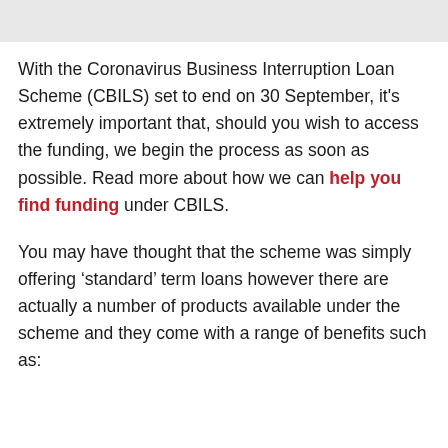With the Coronavirus Business Interruption Loan Scheme (CBILS) set to end on 30 September, it's extremely important that, should you wish to access the funding, we begin the process as soon as possible. Read more about how we can help you find funding under CBILS.
You may have thought that the scheme was simply offering ‘standard’ term loans however there are actually a number of products available under the scheme and they come with a range of benefits such as: